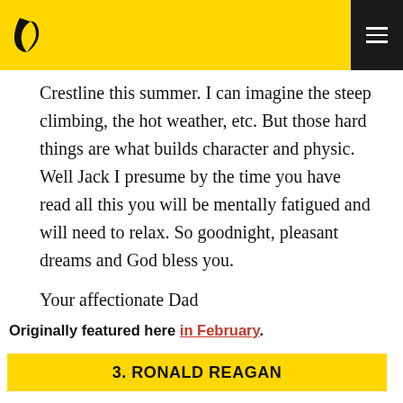Crestline this summer. I can imagine the steep climbing, the hot weather, etc. But those hard things are what builds character and physic. Well Jack I presume by the time you have read all this you will be mentally fatigued and will need to relax. So goodnight, pleasant dreams and God bless you.
Your affectionate Dad
Originally featured here in February.
3. RONALD REAGAN
Days before 26-year-old